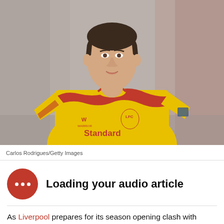[Figure (photo): A young Liverpool FC player wearing a yellow and red Warrior-branded LFC away kit with Standard Chartered sponsor, photographed from the waist up against a blurred background.]
Carlos Rodrigues/Getty Images
Loading your audio article
As Liverpool prepares for its season opening clash with Arsenal, the under-23 squad is getting set to face